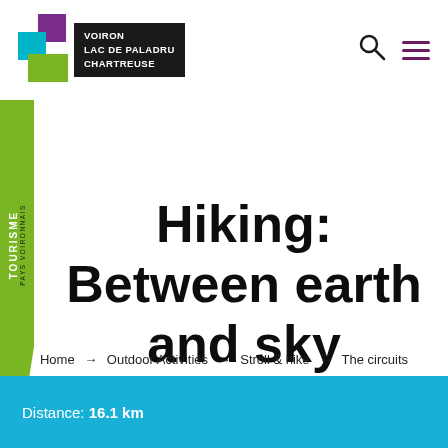[Figure (logo): Voiron Lac de Paladru Chartreuse tourism logo with colored squares]
Hiking: Between earth and sky
Home → Outdoor Activities → Stroll & hike → The circuits
Distance: 16.1 km